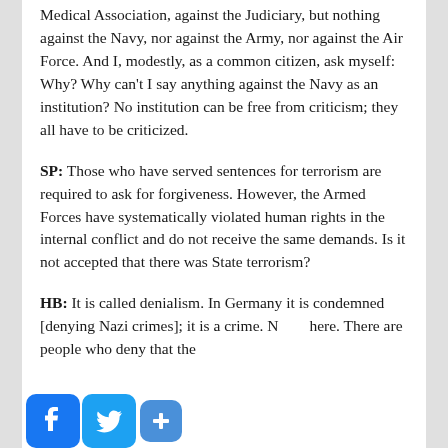Medical Association, against the Judiciary, but nothing against the Navy, nor against the Army, nor against the Air Force. And I, modestly, as a common citizen, ask myself: Why? Why can't I say anything against the Navy as an institution? No institution can be free from criticism; they all have to be criticized.
SP: Those who have served sentences for terrorism are required to ask for forgiveness. However, the Armed Forces have systematically violated human rights in the internal conflict and do not receive the same demands. Is it not accepted that there was State terrorism?
HB: It is called denialism. In Germany it is condemned [denying Nazi crimes]; it is a crime. N here. There are people who deny that the